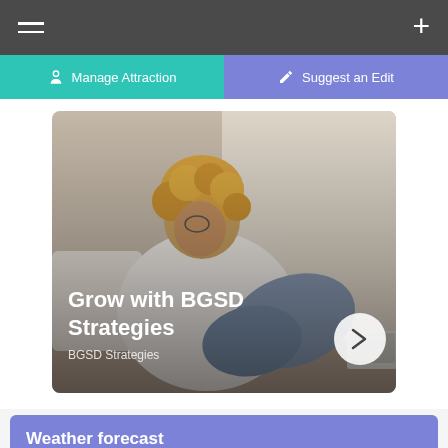≡   +
Manage Attraction
Suggest an Edit
[Figure (photo): Woman with curly hair sitting on a couch with a laptop, viewed from the side. Image card overlay shows title 'Grow with BGSD Strategies' and subtitle 'BGSD Strategies' with a right-arrow navigation button.]
Weather forecast